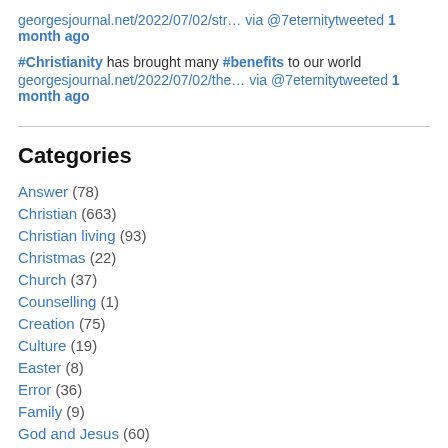georgesjournal.net/2022/07/02/str… via @7eternity tweeted 1 month ago
#Christianity has brought many #benefits to our world
georgesjournal.net/2022/07/02/the… via @7eternity tweeted 1 month ago
Categories
Answer (78)
Christian (663)
Christian living (93)
Christmas (22)
Church (37)
Counselling (1)
Creation (75)
Culture (19)
Easter (8)
Error (36)
Family (9)
God and Jesus (60)